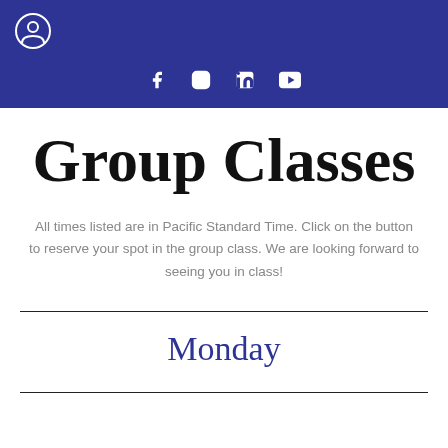Header navigation bar with profile icon and social media icons (Facebook, Instagram, LinkedIn, YouTube)
Group Classes
All times listed are in Pacific Standard Time. Click on the button to reserve your spot in the group class. We are looking forward to seeing you in class!
Monday